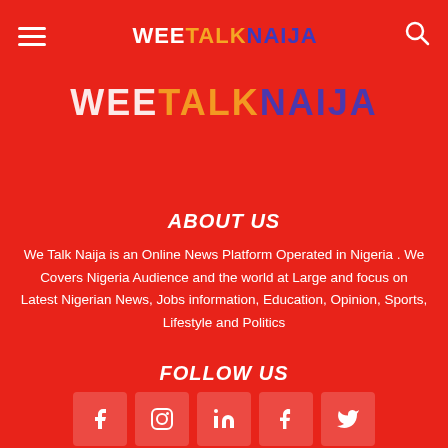WEE TALK NAIJA
[Figure (logo): WeeTalkNaija logo displayed large in banner area with white, orange, and blue lettering on red background]
ABOUT US
We Talk Naija is an Online News Platform Operated in Nigeria . We Covers Nigeria Audience and the world at Large and focus on Latest Nigerian News, Jobs information, Education, Opinion, Sports, Lifestyle and Politics
FOLLOW US
[Figure (infographic): Social media icons: Facebook, Instagram, LinkedIn, Tumblr, Twitter displayed as icon boxes]